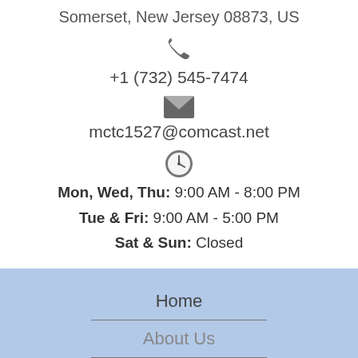Somerset, New Jersey 08873, US
[Figure (illustration): Phone icon]
+1 (732) 545-7474
[Figure (illustration): Envelope/email icon]
mctc1527@comcast.net
[Figure (illustration): Clock icon]
Mon, Wed, Thu: 9:00 AM - 8:00 PM
Tue & Fri: 9:00 AM - 5:00 PM
Sat & Sun: Closed
Home
About Us